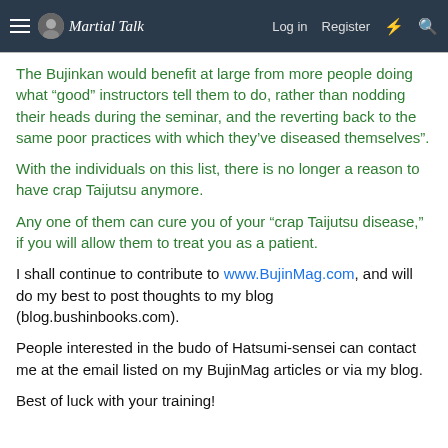Martial Talk — Log in  Register
The Bujinkan would benefit at large from more people doing what “good” instructors tell them to do, rather than nodding their heads during the seminar, and the reverting back to the same poor practices with which they’ve diseased themselves”.
With the individuals on this list, there is no longer a reason to have crap Taijutsu anymore.
Any one of them can cure you of your “crap Taijutsu disease,” if you will allow them to treat you as a patient.
I shall continue to contribute to www.BujinMag.com, and will do my best to post thoughts to my blog (blog.bushinbooks.com).
People interested in the budo of Hatsumi-sensei can contact me at the email listed on my BujinMag articles or via my blog.
Best of luck with your training!